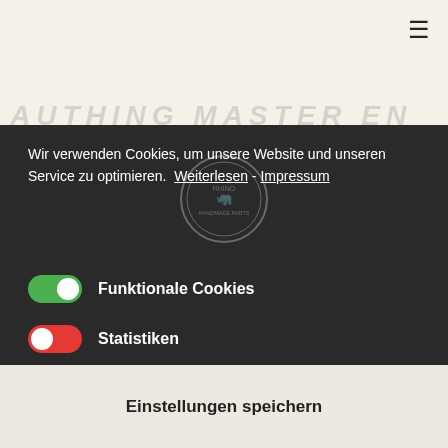[Figure (screenshot): Hamburger menu icon in top right corner of a website header with off-white/cream background]
Wir verwenden Cookies, um unsere Website und unseren Service zu optimieren. Weiterlesen - Impressum
Funktionale Cookies (toggle on/green)
Statistiken (toggle off/red)
Marketing (toggle off/red)
Einstellungen speichern